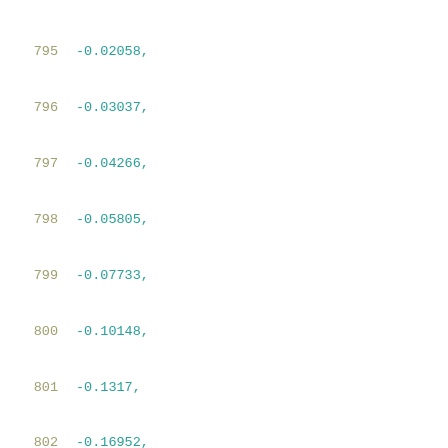795    -0.02058,
796    -0.03037,
797    -0.04266,
798    -0.05805,
799    -0.07733,
800    -0.10148,
801    -0.1317,
802    -0.16952,
803    -0.21682,
804    -0.27598,
805    -0.34994
806    ],
807    [
808    0.01862,
809    0.00553,
810    0.00235,
811    -0.00162,
812    -0.0066,
813    -0.01282,
814    -0.02064,
815    -0.03044,